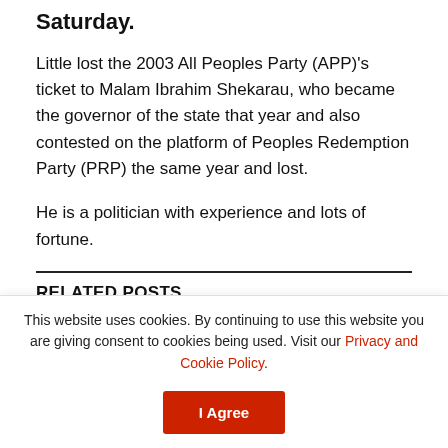Saturday.
Little lost the 2003 All Peoples Party (APP)'s ticket to Malam Ibrahim Shekarau, who became the governor of the state that year and also contested on the platform of Peoples Redemption Party (PRP) the same year and lost.
He is a politician with experience and lots of fortune.
RELATED POSTS
Soldiers murder Yobe Islamic cleric
This website uses cookies. By continuing to use this website you are giving consent to cookies being used. Visit our Privacy and Cookie Policy.